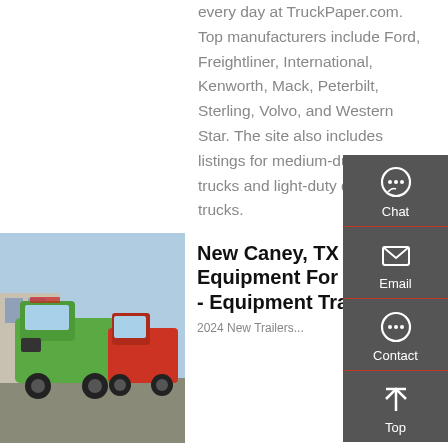every day at TruckPaper.com. Top manufacturers include Ford, Freightliner, International, Kenworth, Mack, Peterbilt, Sterling, Volvo, and Western Star. The site also includes listings for medium-duty dump trucks and light-duty dump trucks.
Get a Quote
[Figure (screenshot): Sidebar with Chat, Email, Contact, and Top navigation icons on dark grey background]
[Figure (photo): Green heavy-duty dump trucks parked in a yard with industrial buildings in background]
New Caney, TX - Equipment For Sale - Equipment Trader
2024 New Trailers...